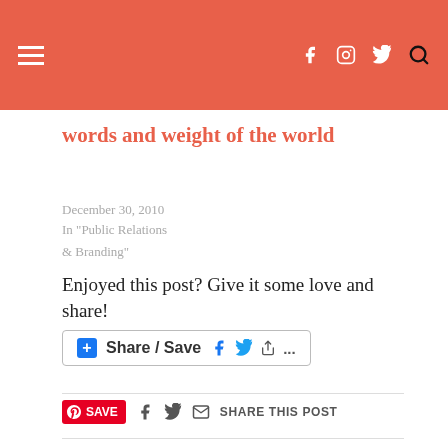Header bar with hamburger menu and social icons (facebook, instagram, twitter, search)
words and weight of the world
December 30, 2010
In "Public Relations & Branding"
Enjoyed this post? Give it some love and share!
[Figure (other): Share/Save button with Facebook, Twitter, and share icons]
[Figure (other): Social sharing bar with Pinterest Save button, Facebook, Twitter, Email icons, and SHARE THIS POST text]